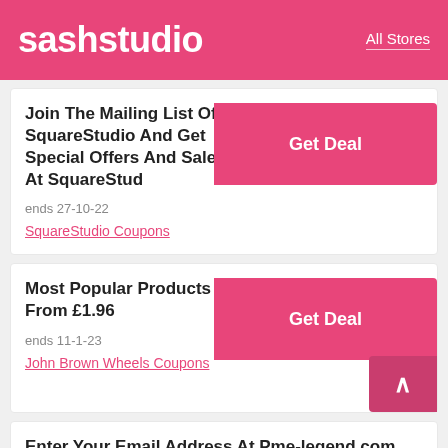sashstudio  All Stores
Join The Mailing List Of SquareStudio And Get Special Offers And Sales At SquareStud
ends 27-10-22
SquareStudio Coupons
Most Popular Products From £1.96
ends 11-1-23
John Brown Wheels Coupons
Enter Your Email Address At Pme-legend.com And